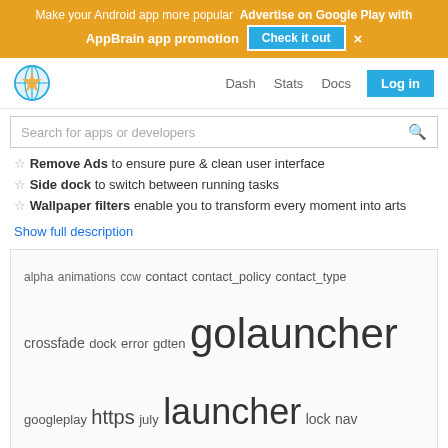Make your Android app more popular  Advertise on Google Play with AppBrain app promotion  [Check it out]  ×
Dash  Stats  Docs  Log in
Search for apps or developers
☆ Remove Ads to ensure pure & clean user interface
☆ Side dock to switch between running tasks
☆ Wallpaper filters enable you to transform every moment into arts
Show full description
[Figure (infographic): Tag cloud with words: alpha, animations, ccw, contact, contact_policy, contact_type, crossfade, dock, error, gdten, golauncher (very large), googleplay, https, july, launcher (large), lock, nav, prime (large), redefine, rotate, sincerely, softid (medium-large), speedy, transition (large), wow]
Comments